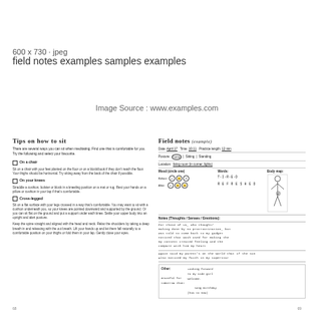600 x 730 · jpeg
field notes examples samples examples
Image Source : www.examples.com
Tips on how to sit
There are several ways you can sit when meditating. Find one that is comfortable for you. Try the following and select your favourite.
On a chair - Sit on a chair with your feet planted on the floor or on a block/book if they don't reach the floor. Your thighs should be horizontal. Try sitting away from the back of the chair if possible.
On your knees - Straddle a cushion, bolster or block in a kneeling position on a mat or rug. Rest your hands on a pillow or cushion in your lap if that's comfortable.
Cross-legged - Sit on a flat surface with your legs crossed in a way that's comfortable. You may want to sit with a cushion underneath you, so your knees are pointed downward and supported by the ground. Or you can sit flat on the ground and put a support under each knee. Settle your upper body into an upright and alert posture.
Keep the spine straight and aligned with the head and neck. Relax the shoulders by taking a deep breath in and releasing with the out breath. Lift your hands up and let them fall naturally to a comfortable position on your thighs or fold them in your lap. Gently close your eyes.
Field notes (example)
Date: April 17  Time: 10:11  Practice length: 12 min
Posture: Lying | Sitting | Standing
Location: living room (in corner, lights)
Mood (circle one): Before / After with emoji faces. Words: TIRED / REFRESHED. Body map.
Notes (Thoughts / Senses / Emotions):
For those of us, who thought, making done by no procrastination, but was told to come back to my gadget noticed that wash used for making the content created feeling and the compare with him my heart
Again said my parent's or the world that if the sun also noted my faith in my superstar
Other: Looking forward to my side girl welcome. Grateful for tomorrow than! Song Birthday (has to now)
68
69